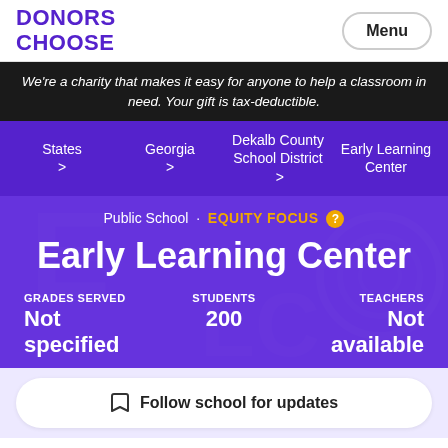DONORS CHOOSE
Menu
We're a charity that makes it easy for anyone to help a classroom in need. Your gift is tax-deductible.
States > Georgia > Dekalb County School District > Early Learning Center
Public School · EQUITY FOCUS ?
Early Learning Center
GRADES SERVED
Not specified
STUDENTS
200
TEACHERS
Not available
Follow school for updates